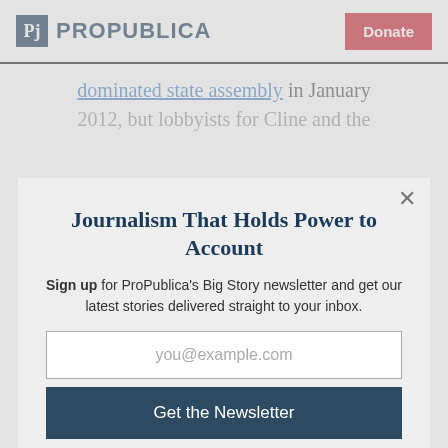ProPublica | Donate
dominated state assembly in January 2012, but lobbyists for Cline and the
Journalism That Holds Power to Account
Sign up for ProPublica's Big Story newsletter and get our latest stories delivered straight to your inbox.
you@example.com
Get the Newsletter
No thanks, I'm all set
This site is protected by reCAPTCHA and the Google Privacy Policy and Terms of Service apply.